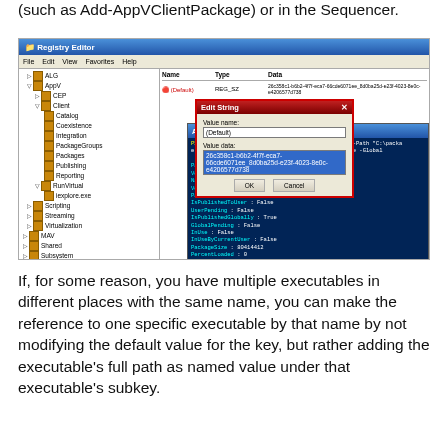(such as Add-AppVClientPackage) or in the Sequencer.
[Figure (screenshot): Registry Editor window showing AppV Client registry keys, with an Edit String dialog box open containing a GUID value highlighted in blue, and a Windows PowerShell Administrator window showing Add-AppVClientPackage command output with package details including PackageId, VersionId, Name, Version, Path, IsPublishedToUser, UserPending, IsPublishedGlobally, GlobalPending, InUse, InUseByCurrentUser, PackageSize, PercentLoaded, IsLoading, HasAssetIntelligence fields.]
If, for some reason, you have multiple executables in different places with the same name, you can make the reference to one specific executable by that name by not modifying the default value for the key, but rather adding the executable's full path as named value under that executable's subkey.